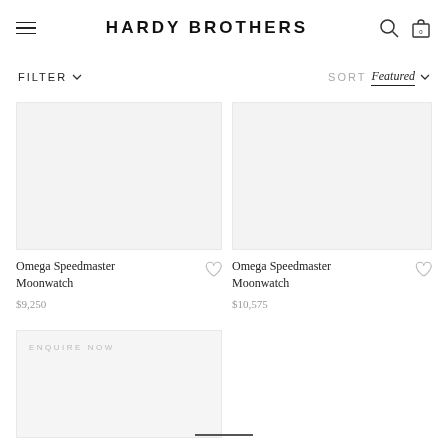HARDY BROTHERS
FILTER  SORT  Featured
[Figure (screenshot): Product image placeholder (light grey) for Omega Speedmaster Moonwatch]
Omega Speedmaster Moonwatch
$9,250
[Figure (screenshot): Product image placeholder (light grey) for Omega Speedmaster Moonwatch]
Omega Speedmaster Moonwatch
$10,575
ENQUIRE NOW